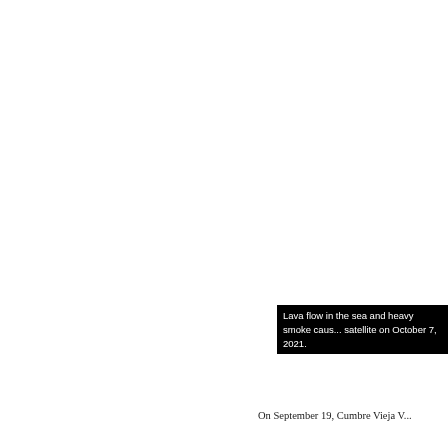Lava flow in the sea and heavy smoke caus... satellite on October 7, 2021.
On September 19, Cumbre Vieja V...